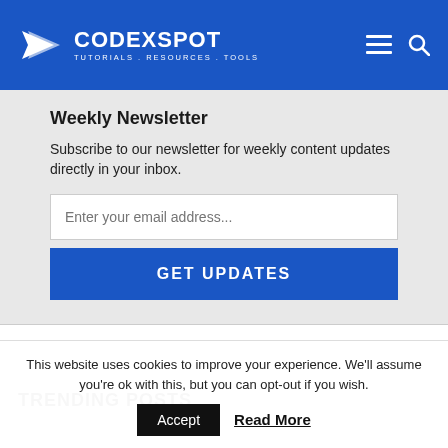CODEXSPOT — TUTORIALS. RESOURCES. TOOLS.
Weekly Newsletter
Subscribe to our newsletter for weekly content updates directly in your inbox.
Enter your email address...
GET UPDATES
TRENDING POSTS
This website uses cookies to improve your experience. We'll assume you're ok with this, but you can opt-out if you wish.
Accept   Read More